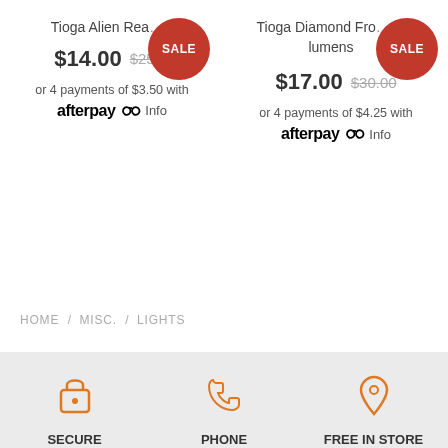Tioga Alien Rea... SALE $14.00 $25... or 4 payments of $3.50 with afterpay Info
Tioga Diamond Fro... 40 lumens SALE $17.00 $30.00 or 4 payments of $4.25 with afterpay Info
HOME / MISC. / LIGHTS
SECURE CHECKOUT Your information
PHONE ASSISTANCE (08) 9302 5316
FREE IN STORE PICK UP 3/30 Fallon Road